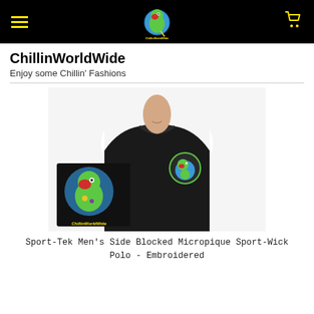ChillinWorldWide navigation bar with logo, hamburger menu, and cart icon
ChillinWorldWide
Enjoy some Chillin' Fashions
[Figure (photo): Man wearing black and white Sport-Tek polo shirt with ChillinWorldWide parrot logo embroidered on chest; inset product image of logo graphic on black background]
Sport-Tek Men's Side Blocked Micropique Sport-Wick Polo - Embroidered